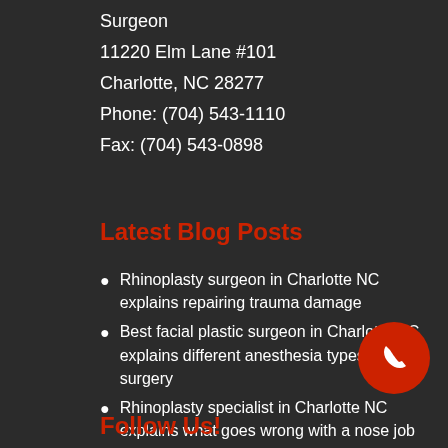Surgeon
11220 Elm Lane #101
Charlotte, NC 28277
Phone: (704) 543-1110
Fax: (704) 543-0898
Latest Blog Posts
Rhinoplasty surgeon in Charlotte NC explains repairing trauma damage
Best facial plastic surgeon in Charlotte NC explains different anesthesia types in facial surgery
Rhinoplasty specialist in Charlotte NC explains what goes wrong with a nose job surgery
[Figure (other): Red circular phone icon button]
Follow Us!